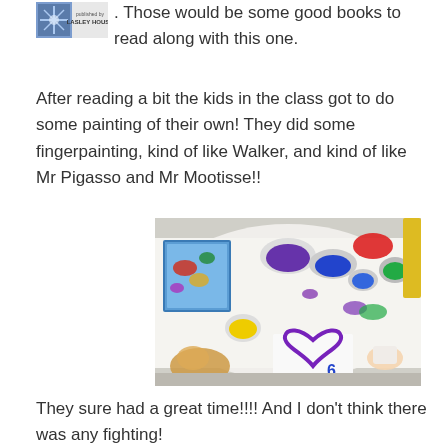. Those would be some good books to read along with this one.
After reading a bit the kids in the class got to do some painting of their own! They did some fingerpainting, kind of like Walker, and kind of like Mr Pigasso and Mr Mootisse!!
[Figure (photo): A table covered with a white cloth, with plates and cups of colorful paint (purple, blue, green, red, yellow), children's fingerpainting artwork, and a purple painted heart shape on white paper.]
They sure had a great time!!!! And I don't think there was any fighting!